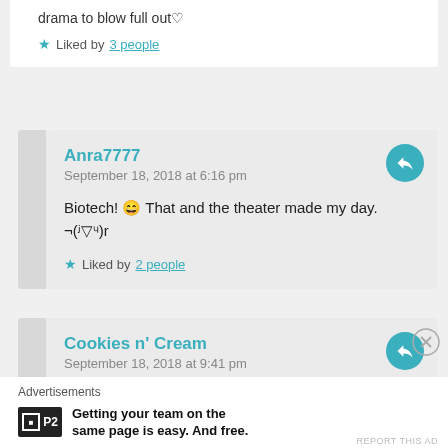drama to blow full out♡
★ Liked by 3 people
Anra7777
September 18, 2018 at 6:16 pm
Biotech! 😄 That and the theater made my day. ¬(ʲ▽ᶣ)r
★ Liked by 2 people
Cookies n' Cream
September 18, 2018 at 9:41 pm
Advertisements
Getting your team on the same page is easy. And free.